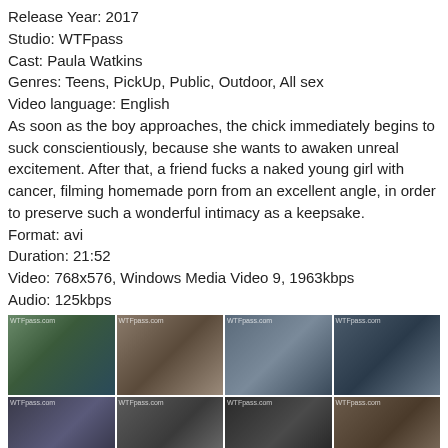Release Year: 2017
Studio: WTFpass
Cast: Paula Watkins
Genres: Teens, PickUp, Public, Outdoor, All sex
Video language: English
As soon as the boy approaches, the chick immediately begins to suck conscientiously, because she wants to awaken unreal excitement. After that, a friend fucks a naked young girl with cancer, filming homemade porn from an excellent angle, in order to preserve such a wonderful intimacy as a keepsake.
Format: avi
Duration: 21:52
Video: 768x576, Windows Media Video 9, 1963kbps
Audio: 125kbps
[Figure (photo): Grid of 12 video thumbnail screenshots arranged in 3 rows of 4 columns, showing scenes from the video with WTFpass watermarks]